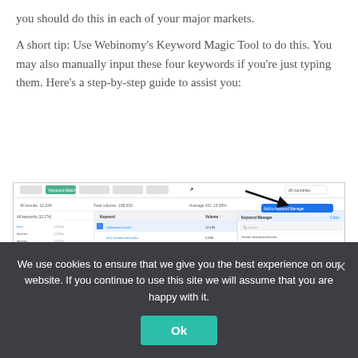you should do this in each of your major markets.
A short tip: Use Webinomy's Keyword Magic Tool to do this. You may also manually input these four keywords if you're just typing them. Here's a step-by-step guide to assist you:
[Figure (screenshot): Screenshot of Webinomy Keyword Magic Tool interface showing a keyword research table with columns for keywords, search volume, trend, CPC, and competition. Several keyword rows are visible along with a sidebar panel labeled 'Keyword Manager'. Arrows point to elements in the interface.]
We use cookies to ensure that we give you the best experience on our website. If you continue to use this site we will assume that you are happy with it.